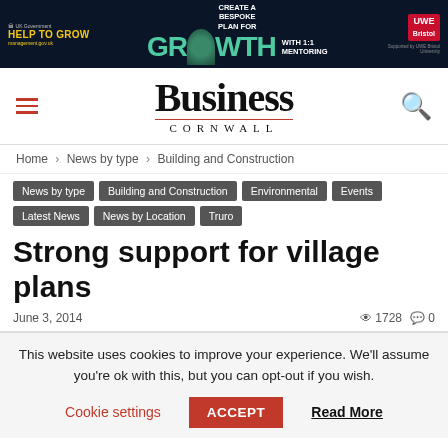[Figure (other): UK Government Help to Grow advertisement banner with dark navy background, featuring green GROWTH text and UWE Bristol logo]
Business Cornwall
Home › News by type › Building and Construction
News by type
Building and Construction
Environmental
Events
Latest News
News by Location
Truro
Strong support for village plans
June 3, 2014   1728   0
This website uses cookies to improve your experience. We'll assume you're ok with this, but you can opt-out if you wish.
Cookie settings   ACCEPT   Read More